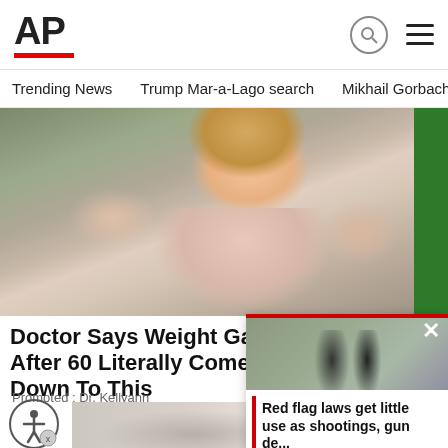AP
Trending News   Trump Mar-a-Lago search   Mikhail Gorbachev d
[Figure (photo): Woman with blonde hair gesturing with both hands, wearing a light pink top, in front of a green background]
Doctor Says Weight Gain After 60 Literally Comes Down To This
Promoted : Dr. Kellyann
[Figure (photo): Person wearing jeans and grey sneakers/sandals, lower body visible]
[Figure (photo): Overlay video panel showing a person in street scene]
Red flag laws get little use as shootings, gun de...